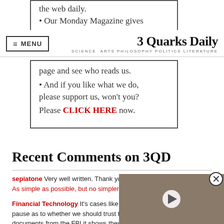the web daily. • Our Monday Magazine gives
MENU | 3 Quarks Daily — SCIENCE ARTS PHILOSOPHY POLITICS LITERATURE
page and see who reads us. • And if you like what we do, please support us, won't you?
Please CLICK HERE now.
Recent Comments on 3QD
sepiatone Very well written. Thank you for the reading suggestions! As simple as possible, but no simpler
Financial Technology It's cases like th… pause as to whether we should trust t… documents from the FBI it shows they…
[Figure (photo): A video overlay thumbnail showing an animal (otter or similar) with a play button, and a close button in the top right.]